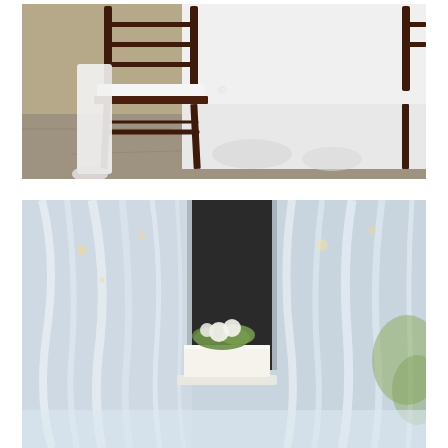[Figure (photo): Wedding reception setup with dark wood Chiavari chairs with white cushions around a table with a long white tablecloth, photographed from ground level showing chair legs and stone floor.]
[Figure (photo): Wedding cake with white floral arrangement on top, square single-tier cake, set against a soft-focus background of white draped fabric/tulle with bokeh lighting effects.]